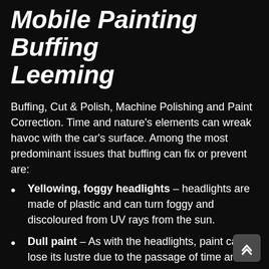Mobile Painting Buffing Leeming
Buffing, Cut & Polish, Machine Polishing and Paint Correction. Time and nature's elements can wreak havoc with the car's surface. Among the most predominant issues that buffing can fix or prevent are:
Yellowing, foggy headlights – headlights are made of plastic and can turn foggy and discoloured from UV rays from the sun.
Dull paint – As with the headlights, paint can lose its lustre due to the passage of time and the weather. Buffing a car can reveal a fresh layer that looks shiny and new.
Paint swirls and scratches – Minor swirls and scratches lie just on the paint clear coat and buffing